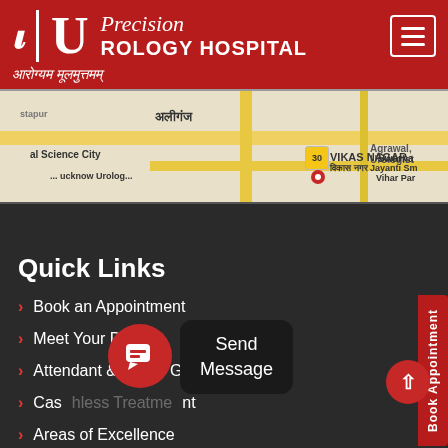[Figure (logo): Precision Urology Hospital logo with snake symbol, large U letter, and text on red background]
आरोग्यम मूलमुत्तमम्
[Figure (map): Google Maps partial view showing Aliganj area, Vikas Nagar area in Lucknow]
Quick Links
Book an Appointment
Meet Your Doctors
Attendant & Visitor Guidelines
Cashless Treatment
Areas of Excellence
Company Overview
Send Message